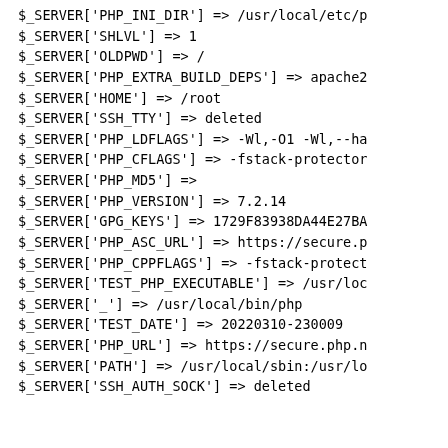$_SERVER['PHP_INI_DIR'] => /usr/local/etc/p
$_SERVER['SHLVL'] => 1
$_SERVER['OLDPWD'] => /
$_SERVER['PHP_EXTRA_BUILD_DEPS'] => apache2
$_SERVER['HOME'] => /root
$_SERVER['SSH_TTY'] => deleted
$_SERVER['PHP_LDFLAGS'] => -Wl,-O1 -Wl,--ha
$_SERVER['PHP_CFLAGS'] => -fstack-protector
$_SERVER['PHP_MD5'] =>
$_SERVER['PHP_VERSION'] => 7.2.14
$_SERVER['GPG_KEYS'] => 1729F83938DA44E27BA
$_SERVER['PHP_ASC_URL'] => https://secure.p
$_SERVER['PHP_CPPFLAGS'] => -fstack-protect
$_SERVER['TEST_PHP_EXECUTABLE'] => /usr/loc
$_SERVER['_'] => /usr/local/bin/php
$_SERVER['TEST_DATE'] => 20220310-230009
$_SERVER['PHP_URL'] => https://secure.php.n
$_SERVER['PATH'] => /usr/local/sbin:/usr/lo
$_SERVER['SSH_AUTH_SOCK'] => deleted